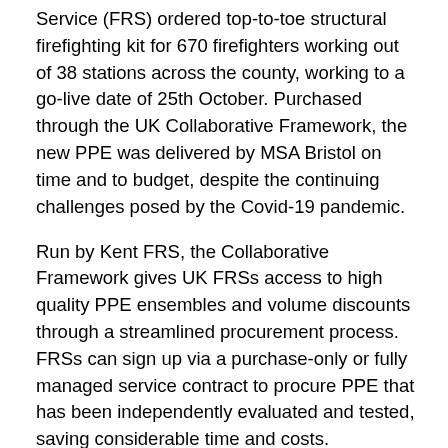Service (FRS) ordered top-to-toe structural firefighting kit for 670 firefighters working out of 38 stations across the county, working to a go-live date of 25th October. Purchased through the UK Collaborative Framework, the new PPE was delivered by MSA Bristol on time and to budget, despite the continuing challenges posed by the Covid-19 pandemic.
Run by Kent FRS, the Collaborative Framework gives UK FRSs access to high quality PPE ensembles and volume discounts through a streamlined procurement process. FRSs can sign up via a purchase-only or fully managed service contract to procure PPE that has been independently evaluated and tested, saving considerable time and costs.
North Yorkshire FRS opted for an eight-year fully managed services contract via the Framework. The selected PPE includes MSA Bristol's light-weight structural firefighting coats and trousers, offering excellent fit and comfort along with superior ergonomic performance. The outer shell is made from